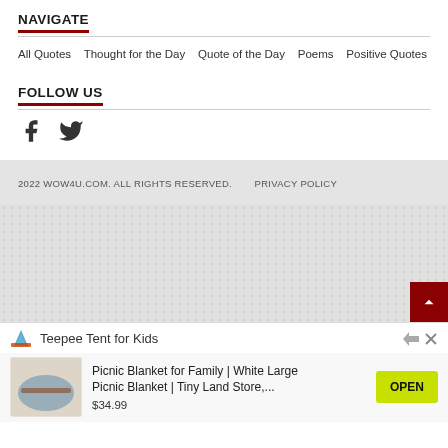NAVIGATE
All Quotes  Thought for the Day  Quote of the Day  Poems  Positive Quotes
FOLLOW US
[Figure (illustration): Facebook and Twitter social media icons]
2022 WOW4U.COM. ALL RIGHTS RESERVED.   PRIVACY POLICY
[Figure (illustration): Light grey background footer area with a scroll-to-top button (dark red background, white chevron arrow) in the bottom right corner]
[Figure (other): Advertisement banner: Teepee Tent for Kids logo with ad controls. Product: Picnic Blanket for Family | White Large Picnic Blanket | Tiny Land Store,... $34.99 with OPEN button]